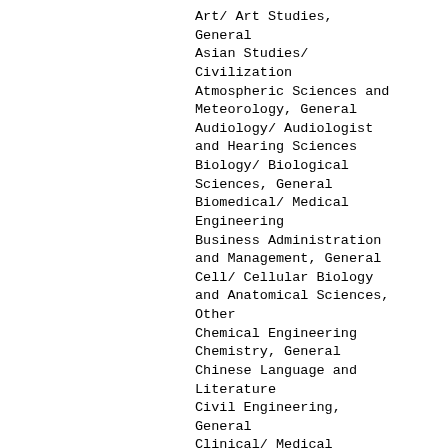Art/ Art Studies, General
Asian Studies/ Civilization
Atmospheric Sciences and Meteorology, General
Audiology/ Audiologist and Hearing Sciences
Biology/ Biological Sciences, General
Biomedical/ Medical Engineering
Business Administration and Management, General
Cell/ Cellular Biology and Anatomical Sciences, Other
Chemical Engineering
Chemistry, General
Chinese Language and Literature
Civil Engineering, General
Clinical/ Medical Laboratory Technician
Communication Disorders, General
Communication Studies/ Speech Communication and Rhetoric